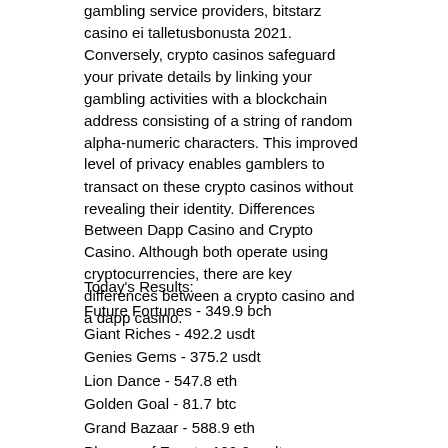gambling service providers, bitstarz casino ei talletusbonusta 2021. Conversely, crypto casinos safeguard your private details by linking your gambling activities with a blockchain address consisting of a string of random alpha-numeric characters. This improved level of privacy enables gamblers to transact on these crypto casinos without revealing their identity. Differences Between Dapp Casino and Crypto Casino. Although both operate using cryptocurrencies, there are key differences between a crypto casino and a dapp casino.
Today's Results:
Future Fortunes - 349.9 bch
Giant Riches - 492.2 usdt
Genies Gems - 375.2 usdt
Lion Dance - 547.8 eth
Golden Goal - 81.7 btc
Grand Bazaar - 588.9 eth
Plagues of Egypt - 102.2 usdt